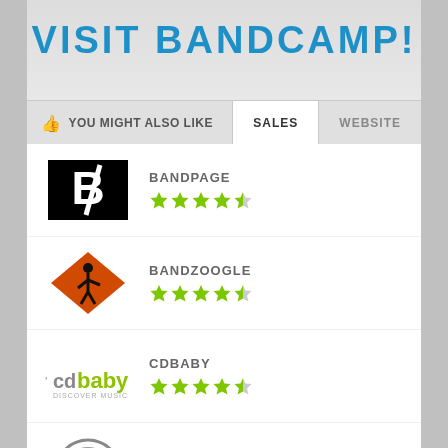VISIT BANDCAMP!
YOU MIGHT ALSO LIKE | SALES | WEBSITE
BANDPAGE, 4.5 stars
BANDZOOGLE, 4.5 stars
CDBABY, 4.5 stars
PULSELOCKER, 5 stars